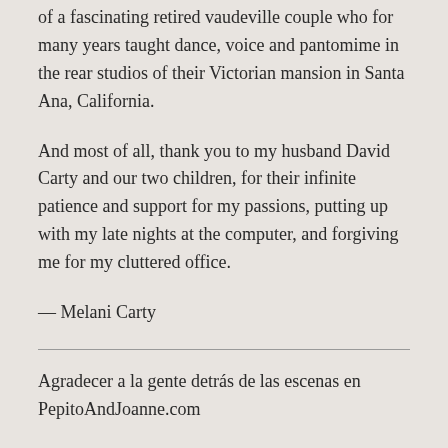of a fascinating retired vaudeville couple who for many years taught dance, voice and pantomime in the rear studios of their Victorian mansion in Santa Ana, California.
And most of all, thank you to my husband David Carty and our two children, for their infinite patience and support for my passions, putting up with my late nights at the computer, and forgiving me for my cluttered office.
— Melani Carty
Agradecer a la gente detrás de las escenas en PepitoAndJoanne.com